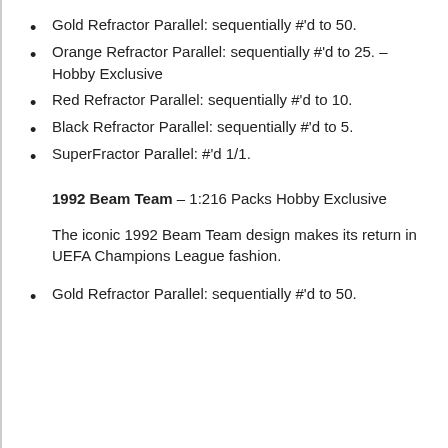Gold Refractor Parallel: sequentially #'d to 50.
Orange Refractor Parallel: sequentially #'d to 25. – Hobby Exclusive
Red Refractor Parallel: sequentially #'d to 10.
Black Refractor Parallel: sequentially #'d to 5.
SuperFractor Parallel: #'d 1/1.
1992 Beam Team – 1:216 Packs Hobby Exclusive
The iconic 1992 Beam Team design makes its return in UEFA Champions League fashion.
Gold Refractor Parallel: sequentially #'d to 50.